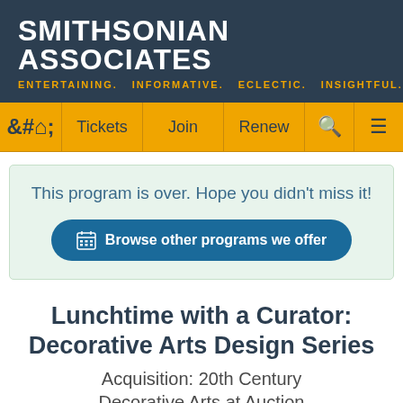SMITHSONIAN ASSOCIATES — ENTERTAINING. INFORMATIVE. ECLECTIC. INSIGHTFUL.
Tickets | Join | Renew
This program is over. Hope you didn't miss it!
Browse other programs we offer
Lunchtime with a Curator: Decorative Arts Design Series
Acquisition: 20th Century Decorative Arts at Auction